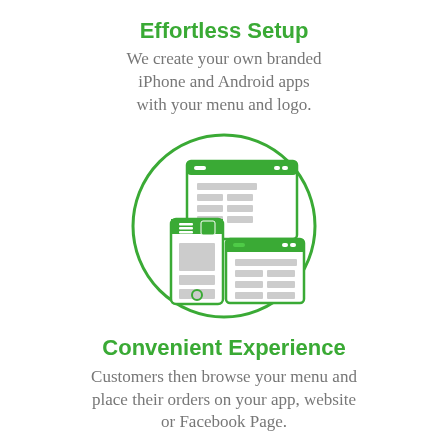Effortless Setup
We create your own branded iPhone and Android apps with your menu and logo.
[Figure (illustration): Circle containing icons of a smartphone, tablet, and desktop/monitor, all shown in green outline style representing multi-device app setup.]
Convenient Experience
Customers then browse your menu and place their orders on your app, website or Facebook Page.